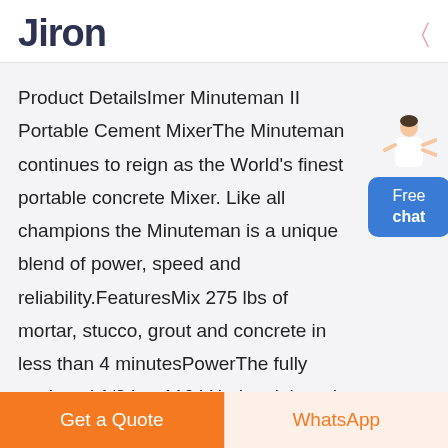Jiron
Product DetailsImer Minuteman II Portable Cement MixerThe Minuteman continues to reign as the World's finest portable concrete Mixer. Like all champions the Minuteman is a unique blend of power, speed and reliability.FeaturesMix 275 lbs of mortar, stucco, grout and concrete in less than 4 minutesPowerThe fully enclosed 1/2 hp, 110 V industrial grade motor with direct gear drive provides ...
[Figure (illustration): Free chat widget with a customer service person illustration and blue button labeled 'Free chat']
[Figure (illustration): Rounded outline button partial and purple circle button at bottom of content area]
Get a Quote
WhatsApp